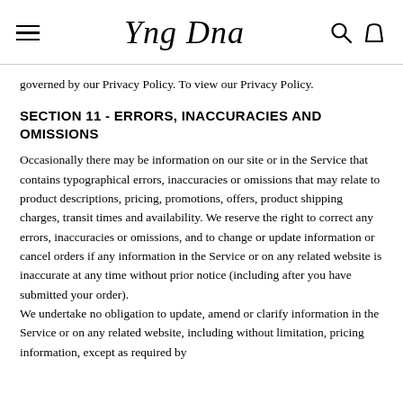Yng Dna
governed by our Privacy Policy. To view our Privacy Policy.
SECTION 11 - ERRORS, INACCURACIES AND OMISSIONS
Occasionally there may be information on our site or in the Service that contains typographical errors, inaccuracies or omissions that may relate to product descriptions, pricing, promotions, offers, product shipping charges, transit times and availability. We reserve the right to correct any errors, inaccuracies or omissions, and to change or update information or cancel orders if any information in the Service or on any related website is inaccurate at any time without prior notice (including after you have submitted your order).
We undertake no obligation to update, amend or clarify information in the Service or on any related website, including without limitation, pricing information, except as required by